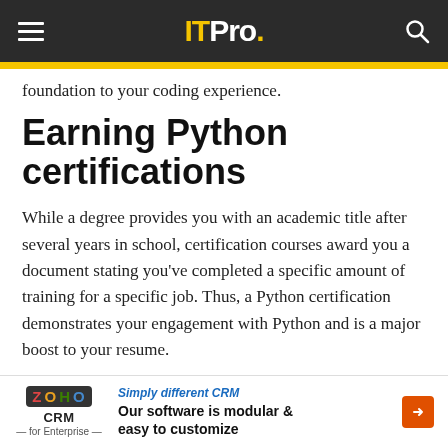IT Pro.
foundation to your coding experience.
Earning Python certifications
While a degree provides you with an academic title after several years in school, certification courses award you a document stating you've completed a specific amount of training for a specific job. Thus, a Python certification demonstrates your engagement with Python and is a major boost to your resume.
Advertisement - Article continues below
[Figure (other): Zoho CRM advertisement banner: 'Simply different CRM — Our software is modular & easy to customize']